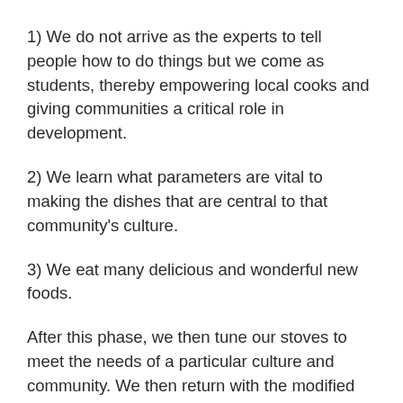1) We do not arrive as the experts to tell people how to do things but we come as students, thereby empowering local cooks and giving communities a critical role in development.
2) We learn what parameters are vital to making the dishes that are central to that community's culture.
3) We eat many delicious and wonderful new foods.
After this phase, we then tune our stoves to meet the needs of a particular culture and community. We then return with the modified stoves, again hiring local cooks to try cooking the same dishes on our stoves. If they are pleased, we begin production locally, if not, we adjust and repeat as often as needed. Of course, high efficiency and low emissions are key